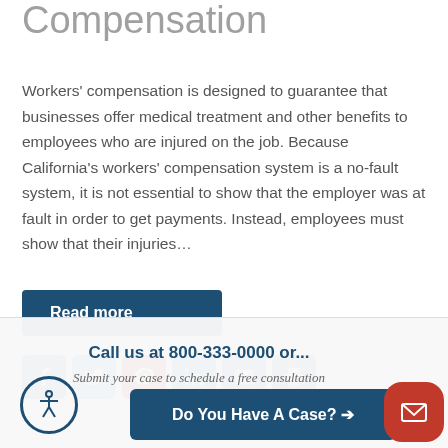Compensation
Workers' compensation is designed to guarantee that businesses offer medical treatment and other benefits to employees who are injured on the job. Because California's workers' compensation system is a no-fault system, it is not essential to show that the employer was at fault in order to get payments. Instead, employees must show that their injuries…
Read more
[Figure (infographic): Row of social media sharing icons: Facebook, Twitter, Pinterest, LinkedIn, Email, Print]
Call us at 800-333-0000 or...
Submit your case to schedule a free consultation
Do You Have A Case? →